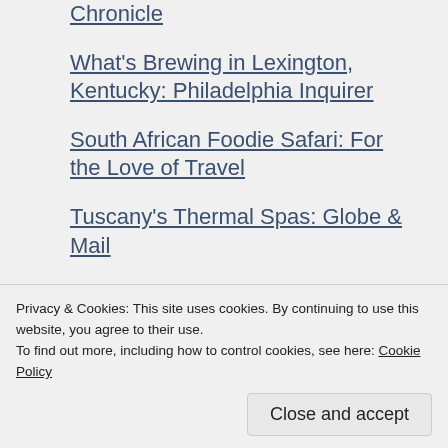Chronicle
What's Brewing in Lexington, Kentucky: Philadelphia Inquirer
South African Foodie Safari: For the Love of Travel
Tuscany's Thermal Spas: Globe & Mail
A Week in Provence: Statesman
Buzzing Budapest: Statesman
Top Destinations for 2017: Dallas Morning...
Castaway at Cancer Bay, St. John.
Privacy & Cookies: This site uses cookies. By continuing to use this website, you agree to their use.
To find out more, including how to control cookies, see here: Cookie Policy
Close and accept